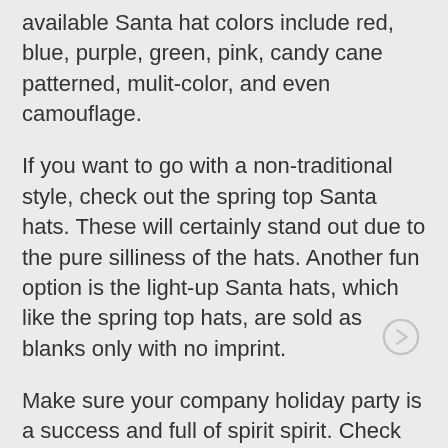available Santa hat colors include red, blue, purple, green, pink, candy cane patterned, mulit-color, and even camouflage.
If you want to go with a non-traditional style, check out the spring top Santa hats. These will certainly stand out due to the pure silliness of the hats. Another fun option is the light-up Santa hats, which like the spring top hats, are sold as blanks only with no imprint.
Make sure your company holiday party is a success and full of spirit spirit. Check out our printed, embroidered, and blank, bulk Santa hats. Shop all of our bulk Santa hats here.